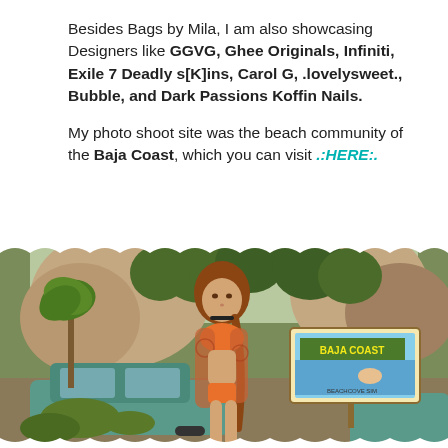Besides Bags by Mila, I am also showcasing Designers like GGVG, Ghee Originals, Infiniti, Exile 7 Deadly s[K]ins, Carol G, .lovelysweet., Bubble, and Dark Passions Koffin Nails.
My photo shoot site was the beach community of the Baja Coast, which you can visit .:HERE:.
[Figure (photo): A virtual world (Second Life) screenshot showing a female avatar with red braided hair wearing an orange bikini top and patterned sheer top, standing in front of an old turquoise car and a Baja Coast billboard in a beach/rocky landscape scene.]